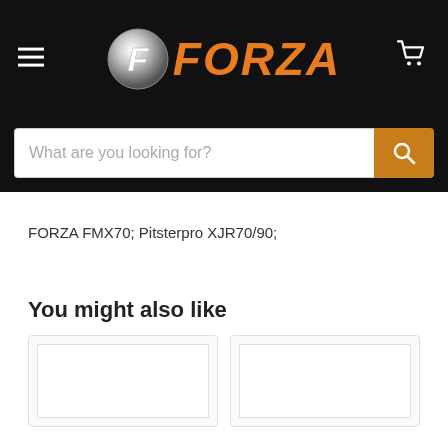[Figure (logo): FORZA brand logo with stylized F in a chrome circle and orange italic FORZA text, on black header bar with hamburger menu and cart icon]
What are you looking for?
FORZA FMX70; Pitsterpro XJR70/90;
You might also like
[Figure (photo): Product card placeholder (left)]
[Figure (photo): Product card placeholder (right)]